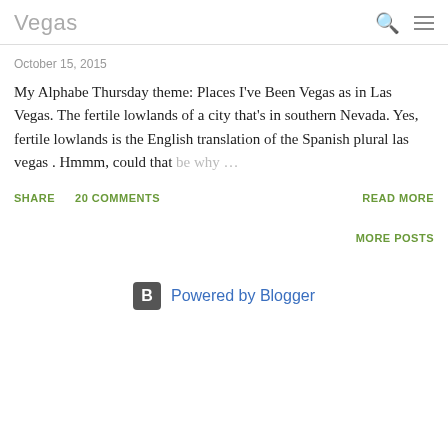Vegas
October 15, 2015
My Alphabe Thursday theme: Places I've Been Vegas as in Las Vegas. The fertile lowlands of a city that's in southern Nevada. Yes, fertile lowlands is the English translation of the Spanish plural las vegas . Hmmm, could that be why …
SHARE   20 COMMENTS   READ MORE
MORE POSTS
Powered by Blogger